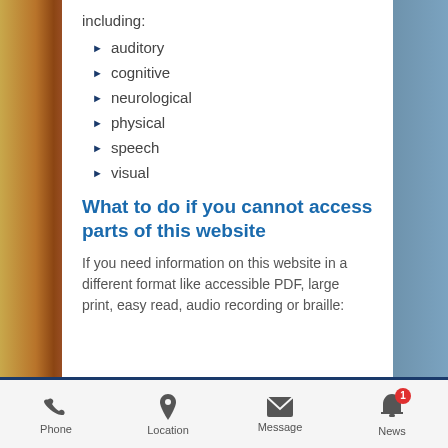including:
auditory
cognitive
neurological
physical
speech
visual
What to do if you cannot access parts of this website
If you need information on this website in a different format like accessible PDF, large print, easy read, audio recording or braille:
Phone  Location  Message  News